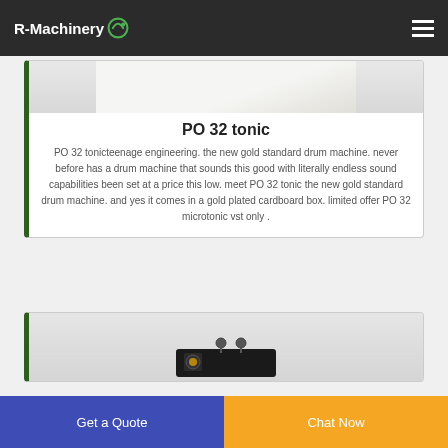R-Machinery
[Figure (photo): Partial product image of PO 32 tonic drum machine, white/light colored device]
PO 32 tonic
PO 32 tonicteenage engineering. the new gold standard drum machine. never before has a drum machine that sounds this good with literally endless sound capabilities been set at a price this low. meet PO 32 tonic the new gold standard drum machine. and yes it comes in a gold plated cardboard box. limited offer PO 32 microtonic vst only .
[Figure (photo): Partial product image of a second product, appears to be a small electronic device with knobs]
Get a Quote
Chat Now